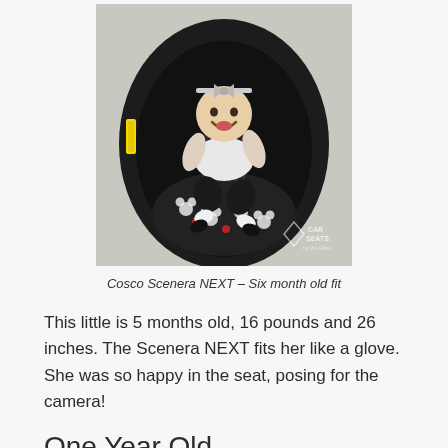[Figure (photo): Overhead view of a smiling baby in a black Cosco Scenera NEXT car seat with Mickey Mouse print fabric, wearing a white bow headband and white outfit. The baby is approximately 5-6 months old. A watermark reading 'CAR SEATS for the Littles' is visible in the bottom right corner.]
Cosco Scenera NEXT – Six month old fit
This little is 5 months old, 16 pounds and 26 inches. The Scenera NEXT fits her like a glove. She was so happy in the seat, posing for the camera!
One Year Old